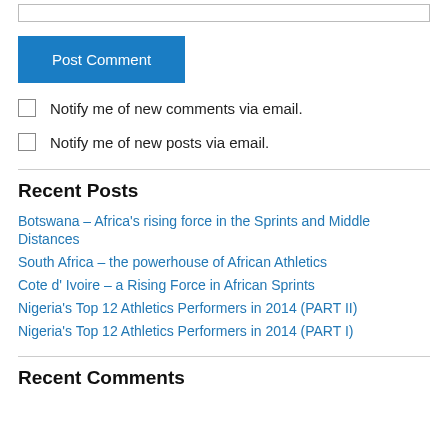[Figure (other): Text input box (empty)]
Post Comment
Notify me of new comments via email.
Notify me of new posts via email.
Recent Posts
Botswana – Africa's rising force in the Sprints and Middle Distances
South Africa – the powerhouse of African Athletics
Cote d' Ivoire – a Rising Force in African Sprints
Nigeria's Top 12 Athletics Performers in 2014 (PART II)
Nigeria's Top 12 Athletics Performers in 2014 (PART I)
Recent Comments